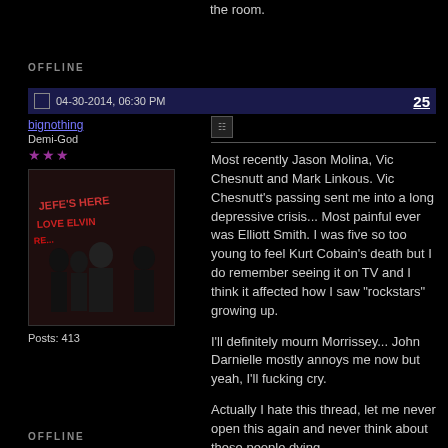the room.
OFFLINE
04-30-2014, 06:30 PM  25
bignothing
Demi-God
★★★
Posts: 413
[Figure (photo): Avatar image showing a band of people standing in front of a wall with graffiti text]
Most recently Jason Molina, Vic Chesnutt and Mark Linkous. Vic Chesnutt's passing sent me into a long depressive crisis... Most painful ever was Elliott Smith. I was five so too young to feel Kurt Cobain's death but I do remember seeing it on TV and I think it affected how I saw "rockstars" growing up.

I'll definitely mourn Morrissey... John Darnielle mostly annoys me now but yeah, I'll fucking cry.

Actually I hate this thread, let me never open this again and never think about these people dying.
OFFLINE